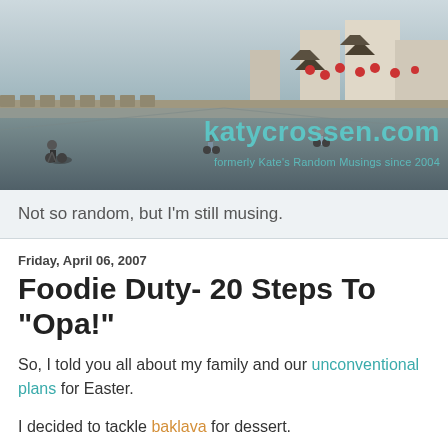[Figure (photo): Banner photo of people cycling on top of a historic city wall in Xi'an, China, with traditional pagoda towers and red lanterns visible. The katycrossen.com logo and subtitle 'formerly Kate's Random Musings since 2004' overlaid in teal.]
Not so random, but I'm still musing.
Friday, April 06, 2007
Foodie Duty- 20 Steps To "Opa!"
So, I told you all about my family and our unconventional plans for Easter.
I decided to tackle baklava for dessert.
It's one of my favorite pastries ever, but it can also be a handful to make with all that layering of the phyllo dough and...